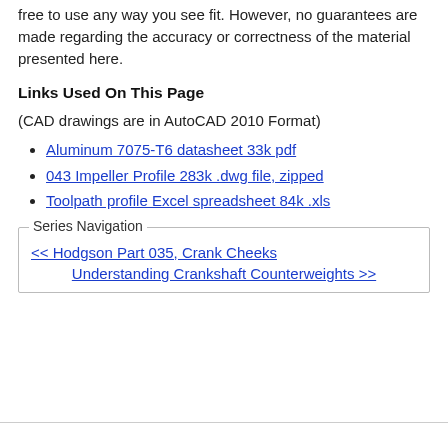free to use any way you see fit. However, no guarantees are made regarding the accuracy or correctness of the material presented here.
Links Used On This Page
(CAD drawings are in AutoCAD 2010 Format)
Aluminum 7075-T6 datasheet 33k pdf
043 Impeller Profile 283k .dwg file, zipped
Toolpath profile Excel spreadsheet 84k .xls
Series Navigation
<< Hodgson Part 035, Crank Cheeks
Understanding Crankshaft Counterweights >>